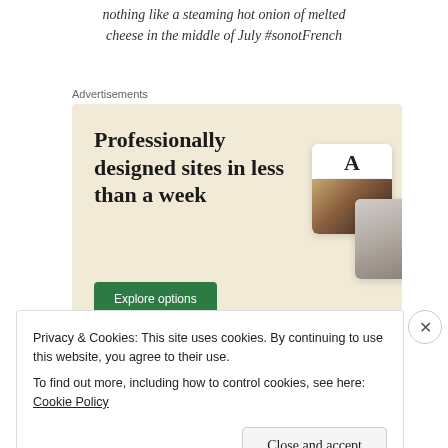nothing like a steaming hot onion of melted cheese in the middle of July #sonotFrench
Advertisements
[Figure (infographic): Advertisement banner with beige background reading 'Professionally designed sites in less than a week' with a green 'Explore options' button and mockup website screenshots on the right.]
Privacy & Cookies: This site uses cookies. By continuing to use this website, you agree to their use.
To find out more, including how to control cookies, see here: Cookie Policy
Close and accept